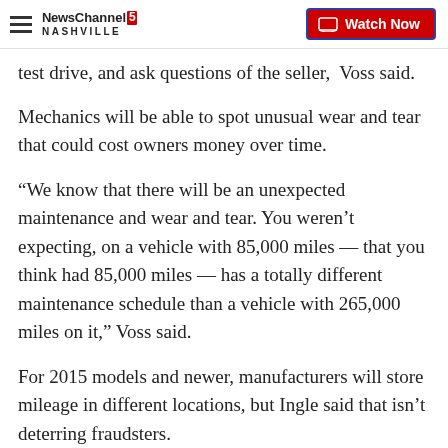NewsChannel 5 Nashville — Watch Now
test drive, and ask questions of the seller," Voss said.
Mechanics will be able to spot unusual wear and tear that could cost owners money over time.
“We know that there will be an unexpected maintenance and wear and tear. You weren’t expecting, on a vehicle with 85,000 miles — that you think had 85,000 miles — has a totally different maintenance schedule than a vehicle with 265,000 miles on it,” Voss said.
For 2015 models and newer, manufacturers will store mileage in different locations, but Ingle said that isn’t deterring fraudsters.